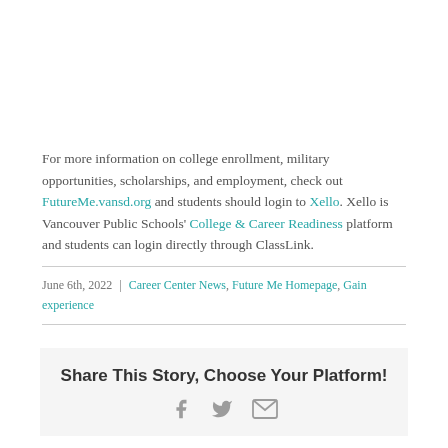For more information on college enrollment, military opportunities, scholarships, and employment, check out FutureMe.vansd.org and students should login to Xello. Xello is Vancouver Public Schools' College & Career Readiness platform and students can login directly through ClassLink.
June 6th, 2022 | Career Center News, Future Me Homepage, Gain experience
Share This Story, Choose Your Platform!